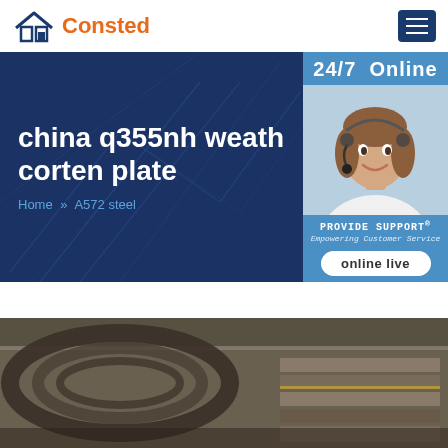[Figure (logo): Consted company logo with house icon in blue and orange text]
[Figure (screenshot): Dark blue banner with title 'china q355nh weath corten plate' and breadcrumb 'Home >> A572 steel', plus a 24/7 Online customer support widget on the right with a female agent photo, Provide Support branding, and online live button]
[Figure (photo): Photo of steel plates/coils in an industrial setting]